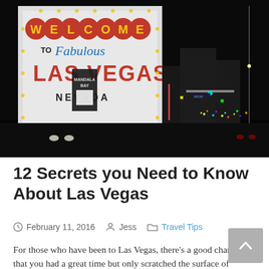[Figure (photo): Nighttime photo of the Welcome to Fabulous Las Vegas Nevada sign with the Las Vegas Strip in the background lit up with neon lights.]
12 Secrets you Need to Know About Las Vegas
February 11, 2016   Jess   Travel Tips
For those who have been to Las Vegas, there's a good chance that you had a great time but only scratched the surface of